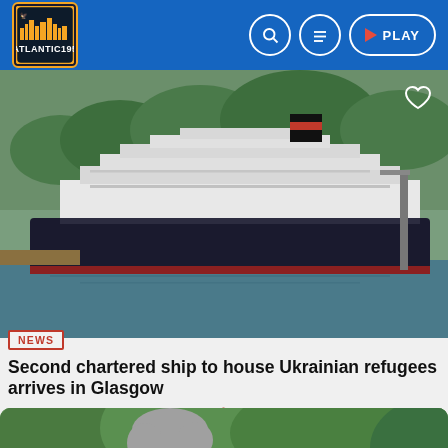ATLANTIC195
[Figure (photo): Aerial or elevated view of a large cruise ship docked at port, with multiple decks visible and a red and black funnel. Greenery and waterfront visible.]
NEWS
Second chartered ship to house Ukrainian refugees arrives in Glasgow
SEPTEMBER 1, 2022  1
[Figure (photo): Partial view of an older woman with gray hair outdoors among green trees/bushes. A yellow banner is partially visible at the bottom.]